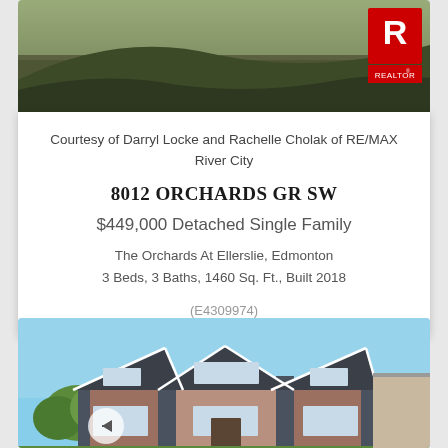[Figure (photo): Exterior photo of a property showing a grassy hillside with a REALTOR logo watermark in the top right corner]
Courtesy of Darryl Locke and Rachelle Cholak of RE/MAX River City
8012 ORCHARDS GR SW
$449,000 Detached Single Family
The Orchards At Ellerslie, Edmonton
3 Beds, 3 Baths, 1460 Sq. Ft., Built 2018
(E4309974)
[Figure (photo): Exterior photo of a two-storey townhouse with brick and grey siding, multiple gabled rooflines against a blue sky with green trees visible]